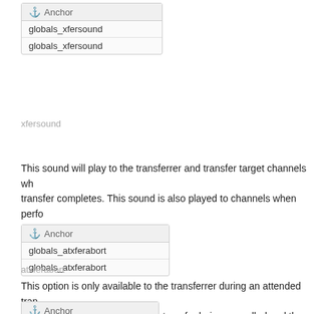[Figure (other): Anchor box showing globals_xfersound listed twice]
xfersound
This sound will play to the transferrer and transfer target channels wh transfer completes. This sound is also played to channels when perfo Bridge action.
[Figure (other): Anchor box showing globals_atxferabort listed twice]
atxferabort
This option is only available to the transferrer during an attended tran Aborting a transfer results in the transfer being cancelled and the orig being re-bridged.
[Figure (other): Anchor box header only visible]